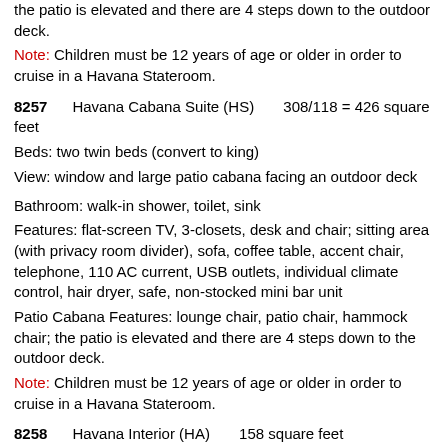the patio is elevated and there are 4 steps down to the outdoor deck.
Note: Children must be 12 years of age or older in order to cruise in a Havana Stateroom.
8257    Havana Cabana Suite (HS)    308/118 = 426 square feet
Beds: two twin beds (convert to king)
View: window and large patio cabana facing an outdoor deck
Bathroom: walk-in shower, toilet, sink
Features: flat-screen TV, 3-closets, desk and chair; sitting area (with privacy room divider), sofa, coffee table, accent chair, telephone, 110 AC current, USB outlets, individual climate control, hair dryer, safe, non-stocked mini bar unit
Patio Cabana Features: lounge chair, patio chair, hammock chair; the patio is elevated and there are 4 steps down to the outdoor deck.
Note: Children must be 12 years of age or older in order to cruise in a Havana Stateroom.
8258    Havana Interior (HA)    158 square feet
Beds: two twin beds (convert to king)